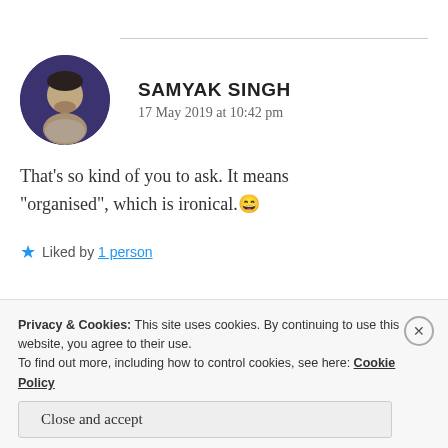SAMYAK SINGH
17 May 2019 at 10:42 pm
That’s so kind of you to ask. It means “organised”, which is ironical.😁
★ Liked by 1 person
Privacy & Cookies: This site uses cookies. By continuing to use this website, you agree to their use.
To find out more, including how to control cookies, see here: Cookie Policy
Close and accept